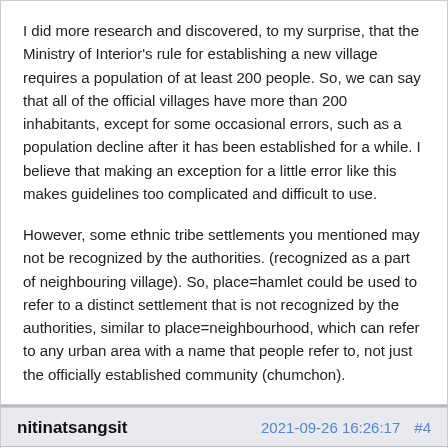I did more research and discovered, to my surprise, that the Ministry of Interior's rule for establishing a new village requires a population of at least 200 people. So, we can say that all of the official villages have more than 200 inhabitants, except for some occasional errors, such as a population decline after it has been established for a while. I believe that making an exception for a little error like this makes guidelines too complicated and difficult to use.

However, some ethnic tribe settlements you mentioned may not be recognized by the authorities. (recognized as a part of neighbouring village). So, place=hamlet could be used to refer to a distinct settlement that is not recognized by the authorities, similar to place=neighbourhood, which can refer to any urban area with a name that people refer to, not just the officially established community (chumchon).
nitinatsangsit  2021-09-26 16:26:17  #4
I've already made changes to the wiki.
If there is a problem, we can talk about it further.

Regards